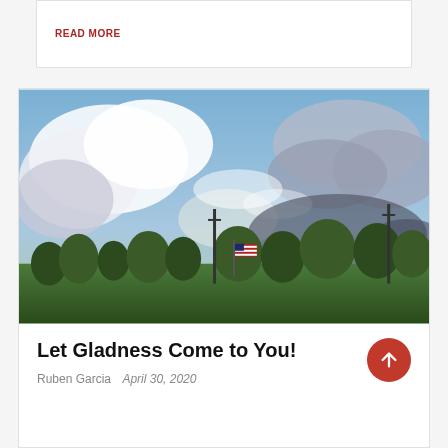READ MORE
[Figure (photo): Outdoor landscape photo showing a dramatic sky with blue sky and large white and grey clouds, with trees and an American flag visible in the lower portion of the image.]
Let Gladness Come to You!
Ruben Garcia  April 30, 2020